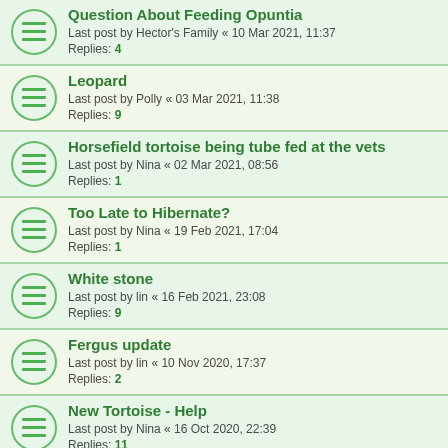Question About Feeding Opuntia
Last post by Hector's Family « 10 Mar 2021, 11:37
Replies: 4
Leopard
Last post by Polly « 03 Mar 2021, 11:38
Replies: 9
Horsefield tortoise being tube fed at the vets
Last post by Nina « 02 Mar 2021, 08:56
Replies: 1
Too Late to Hibernate?
Last post by Nina « 19 Feb 2021, 17:04
Replies: 1
White stone
Last post by lin « 16 Feb 2021, 23:08
Replies: 9
Fergus update
Last post by lin « 10 Nov 2020, 17:37
Replies: 2
New Tortoise - Help
Last post by Nina « 16 Oct 2020, 22:39
Replies: 11
Weight loss
Last post by Nina « 27 Sep 2020, 11:09
Replies: 13
Safe soil for plant consumption?
Last post by Nina « 11 Sep 2020, 11:10
Replies: 9
Cuttlefish
Last post by Karon « 28 Aug 2020, 09:05
Replies: 3
Minerals for my princess